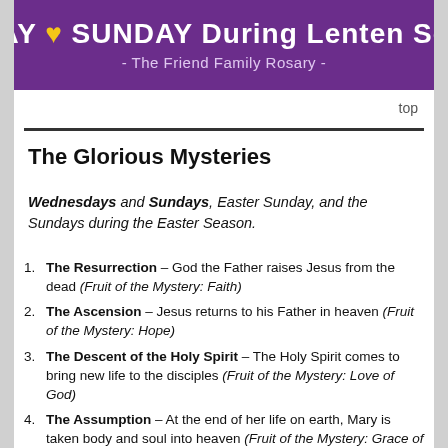[Figure (illustration): Purple banner with white bold text 'RIDAY ♥ SUNDAY During Lenten Season' and subtitle '- The Friend Family Rosary -' with yellow heart symbol]
top
The Glorious Mysteries
Wednesdays and Sundays, Easter Sunday, and the Sundays during the Easter Season.
The Resurrection – God the Father raises Jesus from the dead (Fruit of the Mystery: Faith)
The Ascension – Jesus returns to his Father in heaven (Fruit of the Mystery: Hope)
The Descent of the Holy Spirit – The Holy Spirit comes to bring new life to the disciples (Fruit of the Mystery: Love of God)
The Assumption – At the end of her life on earth, Mary is taken body and soul into heaven (Fruit of the Mystery: Grace of a Happy Death)
The Coronation of the Blessed Virgin Mary – Mary is